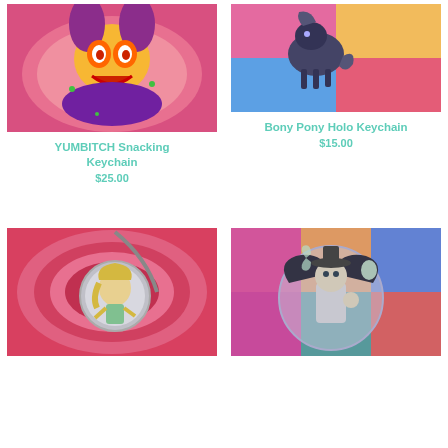[Figure (photo): Colorful keychain with yellow, red, purple tones on pink background - YUMBITCH Snacking Keychain product photo]
YUMBITCH Snacking Keychain
$25.00
[Figure (photo): Holographic keychain of a bony pony shape with rainbow holographic background]
Bony Pony Holo Keychain
$15.00
[Figure (photo): Keychain featuring an anime character with blonde hair on pink swirling background]
[Figure (photo): Holographic keychain featuring anime character with dark creature on rainbow holographic background]